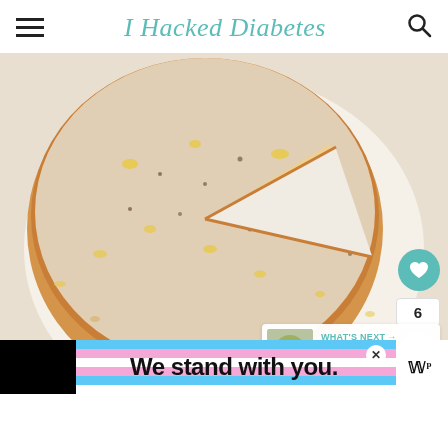I Hacked Diabetes
[Figure (photo): A round lemon cake dusted with powdered sugar and yellow citrus zest, with a slice cut out, photographed on a white plate from above.]
WHAT'S NEXT → Sugar Free Low Carb...